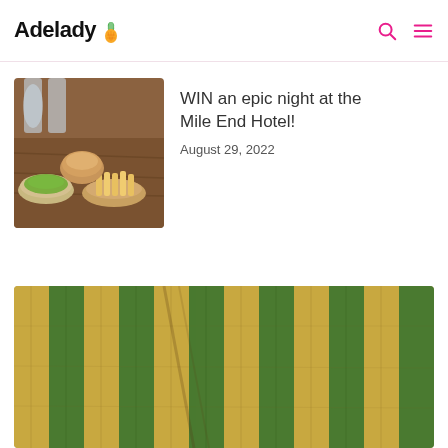Adelady
WIN an epic night at the Mile End Hotel!
August 29, 2022
[Figure (photo): Food dishes on a restaurant table — bread, chips, salad bowls with glasses of wine in the background]
[Figure (photo): Aerial view of agricultural field rows, showing golden/brown soil rows alternating with green crops or trees]